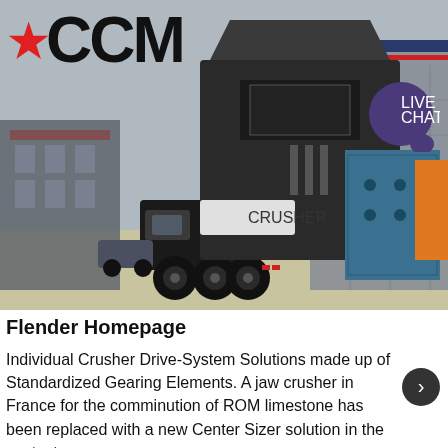[Figure (photo): A large mobile jaw crusher / industrial crushing machine mounted on a heavy truck, photographed outdoors in a yard. Additional industrial machinery visible on the right side. Buildings visible in background. The CCM logo with red star overlays the top-left of the image, and a 'LIVE CHAT' purple speech bubble badge overlays the top-right.]
Flender Homepage
Individual Crusher Drive-System Solutions made up of Standardized Gearing Elements. A jaw crusher in France for the comminution of ROM limestone has been replaced with a new Center Sizer solution in the context